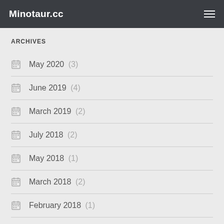Minotaur.cc
ARCHIVES
May 2020 (3)
June 2019 (4)
March 2019 (2)
July 2018 (2)
May 2018 (1)
March 2018 (2)
February 2018 (1)
November 2013 (1)